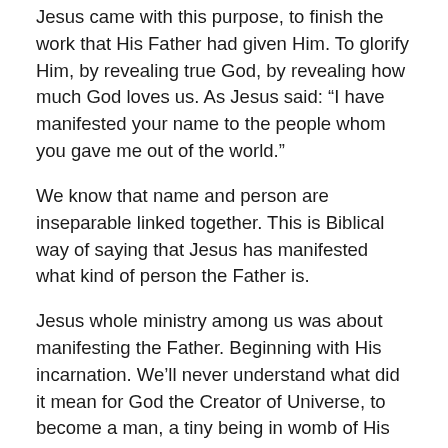Jesus came with this purpose, to finish the work that His Father had given Him. To glorify Him, by revealing true God, by revealing how much God loves us. As Jesus said: “I have manifested your name to the people whom you gave me out of the world.”
We know that name and person are inseparable linked together. This is Biblical way of saying that Jesus has manifested what kind of person the Father is.
Jesus whole ministry among us was about manifesting the Father. Beginning with His incarnation. We’ll never understand what did it mean for God the Creator of Universe, to become a man, a tiny being in womb of His mother. What did it mean for Him to grow up as one of us, two millennia ago in rural Palestine? But He did all of this for us.